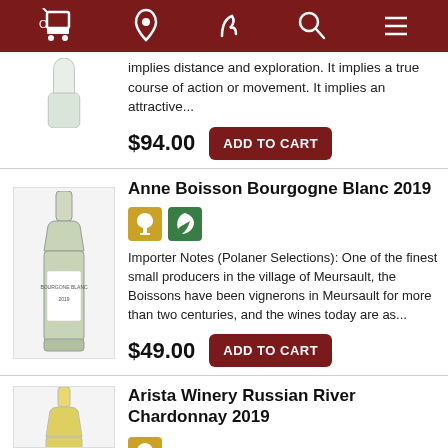Navigation bar with cart, location, phone, search, and menu icons
implies distance and exploration. It implies a true course of action or movement. It implies an attractive...
$94.00
ADD TO CART
Anne Boisson Bourgogne Blanc 2019
Importer Notes (Polaner Selections): One of the finest small producers in the village of Meursault, the Boissons have been vignerons in Meursault for more than two centuries, and the wines today are as...
$49.00
ADD TO CART
Arista Winery Russian River Chardonnay 2019